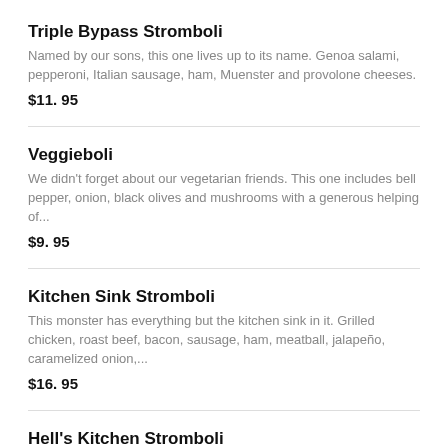Triple Bypass Stromboli
Named by our sons, this one lives up to its name. Genoa salami, pepperoni, Italian sausage, ham, Muenster and provolone cheeses.
$11. 95
Veggieboli
We didn't forget about our vegetarian friends. This one includes bell pepper, onion, black olives and mushrooms with a generous helping of...
$9. 95
Kitchen Sink Stromboli
This monster has everything but the kitchen sink in it. Grilled chicken, roast beef, bacon, sausage, ham, meatball, jalapeño, caramelized onion,...
$16. 95
Hell's Kitchen Stromboli
It's a five-alarm party in your mouth! Provolone cheese, cream cheese, grilled chicken breast jalapeño, pineapple, sriracha sauce and fresh basil.